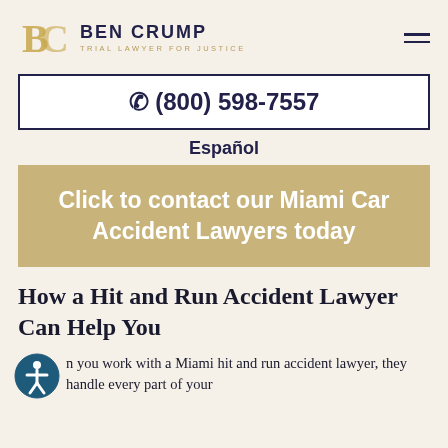[Figure (logo): Ben Crump Trial Lawyer for Justice logo with stylized BC monogram in gold]
(800) 598-7557
Español
Click to contact our Miami Car Accident Lawyers today
How a Hit and Run Accident Lawyer Can Help You
n you work with a Miami hit and run accident lawyer, they handle every part of your